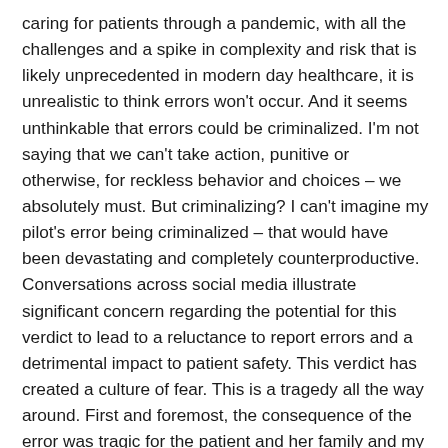caring for patients through a pandemic, with all the challenges and a spike in complexity and risk that is likely unprecedented in modern day healthcare, it is unrealistic to think errors won't occur. And it seems unthinkable that errors could be criminalized. I'm not saying that we can't take action, punitive or otherwise, for reckless behavior and choices – we absolutely must. But criminalizing? I can't imagine my pilot's error being criminalized – that would have been devastating and completely counterproductive. Conversations across social media illustrate significant concern regarding the potential for this verdict to lead to a reluctance to report errors and a detrimental impact to patient safety. This verdict has created a culture of fear. This is a tragedy all the way around. First and foremost, the consequence of the error was tragic for the patient and her family and my heart breaks for them. My heart goes out to the nurse as well. Even though she should certainly be held